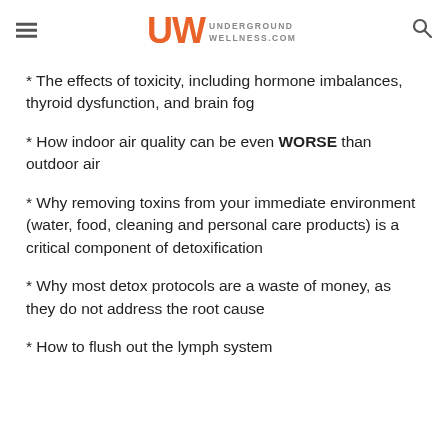Underground Wellness - undergroundwellness.com
* The effects of toxicity, including hormone imbalances, thyroid dysfunction, and brain fog
* How indoor air quality can be even WORSE than outdoor air
* Why removing toxins from your immediate environment (water, food, cleaning and personal care products) is a critical component of detoxification
* Why most detox protocols are a waste of money, as they do not address the root cause
* How to flush out the lymph system